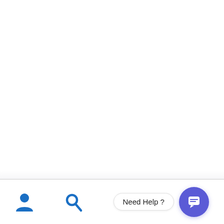[Figure (screenshot): Mobile app bottom navigation bar with a user/account icon on the left, a search icon in the center, a 'Need Help?' chat bubble label, and a chat/message floating action button (purple circle with chat icon) on the bottom right. The top portion of the page is blank white.]